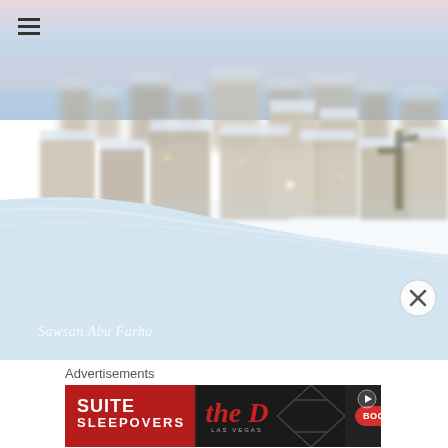[Figure (photo): Aerial/elevated view of a snow-covered city or town at dusk/dawn. Buildings and rooftops are covered in white snow. The foreground shows a thick blanket of snow in soft focus, while the blurred background shows cubic buildings and city lights. Soft pinkish-blue sky visible at the top. A watermark in italic script reads 'Sawsan Abu Farha' at the bottom left of the photo.]
Advertisements
[Figure (screenshot): Advertisement banner for 'SUITE SLEEPOVERS' at 'the D' Las Vegas casino. Dark background with red and white text. Shows 'SUITE SLEEPOVERS' in bold white letters on left side, 'the D' logo in red italic on center, 'LAS VEGAS' in small vertical text, a diamond/lattice pattern graphic on the right, and a red 'BOOK NOW' pill button. A play/arrow button icon appears top right corner of the banner.]